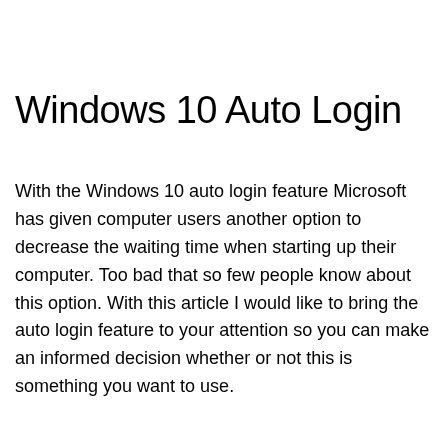Windows 10 Auto Login
With the Windows 10 auto login feature Microsoft has given computer users another option to decrease the waiting time when starting up their computer. Too bad that so few people know about this option. With this article I would like to bring the auto login feature to your attention so you can make an informed decision whether or not this is something you want to use.